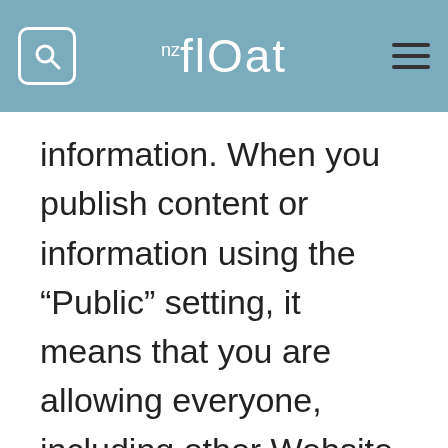nzfloat
information. When you publish content or information using the “Public” setting, it means that you are allowing everyone, including other Website users , to access and use that information, and to associate it with you (i.e. your name and profile picture). We advise that you never reveal any